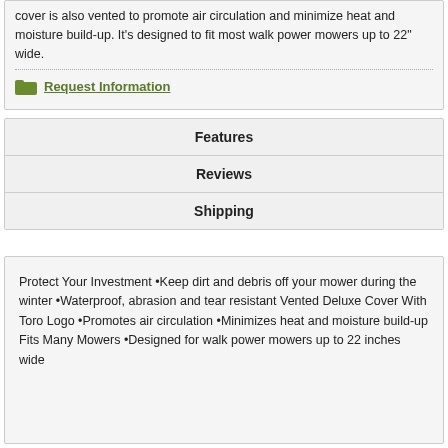cover is also vented to promote air circulation and minimize heat and moisture build-up. It's designed to fit most walk power mowers up to 22" wide.
Request Information
Features
Reviews
Shipping
Protect Your Investment •Keep dirt and debris off your mower during the winter •Waterproof, abrasion and tear resistant Vented Deluxe Cover With Toro Logo •Promotes air circulation •Minimizes heat and moisture build-up Fits Many Mowers •Designed for walk power mowers up to 22 inches wide